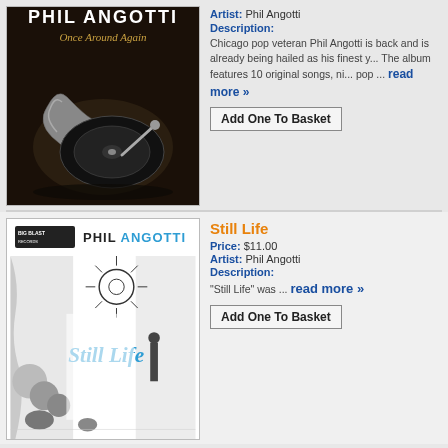[Figure (photo): Album cover for 'Once Around Again' by Phil Angotti showing a vintage gramophone/record player in dark tones]
Artist: Phil Angotti
Description:
Chicago pop veteran Phil Angotti is back and is already being hailed as his finest y... The album features 10 original songs, ni... pop ... read more »
Add One To Basket
Still Life
Price: $11.00
Artist: Phil Angotti
Description:
“Still Life” was ... read more »
[Figure (photo): Album cover for 'Still Life' by Phil Angotti on Big Blast Records, black and white illustrated cover with surreal characters and 'Still Life' text in blue]
Add One To Basket